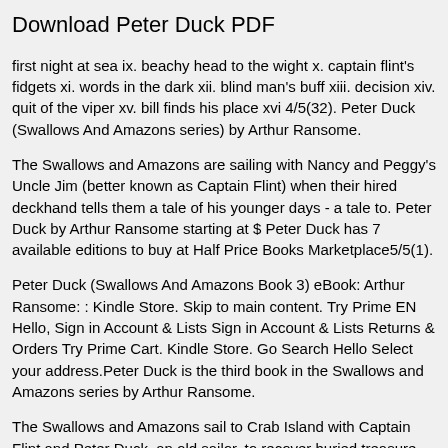Download Peter Duck PDF
first night at sea ix. beachy head to the wight x. captain flint's fidgets xi. words in the dark xii. blind man's buff xiii. decision xiv. quit of the viper xv. bill finds his place xvi 4/5(32). Peter Duck (Swallows And Amazons series) by Arthur Ransome.
The Swallows and Amazons are sailing with Nancy and Peggy's Uncle Jim (better known as Captain Flint) when their hired deckhand tells them a tale of his younger days - a tale to. Peter Duck by Arthur Ransome starting at $ Peter Duck has 7 available editions to buy at Half Price Books Marketplace5/5(1).
Peter Duck (Swallows And Amazons Book 3) eBook: Arthur Ransome: : Kindle Store. Skip to main content. Try Prime EN Hello, Sign in Account & Lists Sign in Account & Lists Returns & Orders Try Prime Cart. Kindle Store. Go Search Hello Select your address.Peter Duck is the third book in the Swallows and Amazons series by Arthur Ransome.
The Swallows and Amazons sail to Crab Island with Captain Flint and Peter Duck, an old sailor, to recover buried treasure. During the voyage the Wildcat (Captain Flint's ship) is chased by other crew the Viper, who are intent on...